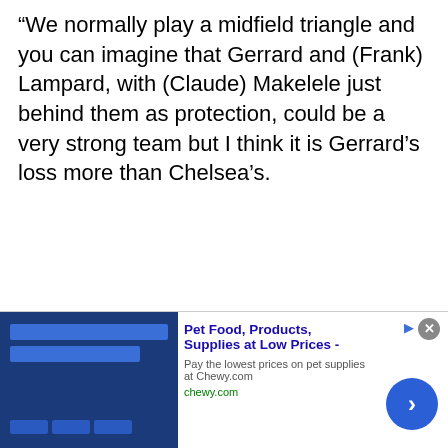“We normally play a midfield triangle and you can imagine that Gerrard and (Frank) Lampard, with (Claude) Makelele just behind them as protection, could be a very strong team but I think it is Gerrard’s loss more than Chelsea’s.
[Figure (other): Advertisement banner for Chewy.com pet supplies featuring a blue product image on the left, bold ad title 'Pet Food, Products, Supplies at Low Prices -', description text 'Pay the lowest prices on pet supplies at Chewy.com', URL 'chewy.com', a close button (X), a sponsored icon, and a blue circular arrow CTA button.]